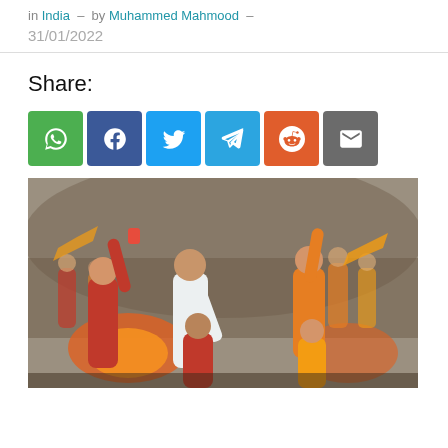in India – by Muhammed Mahmood – 31/01/2022
Share:
[Figure (photo): A group of men in orange and red clothing, some raising their arms, in a street scene with fire and crowd in the background.]